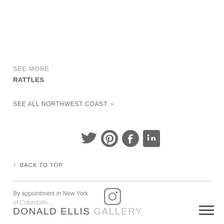SEE MORE
RATTLES
SEE ALL NORTHWEST COAST >
[Figure (other): Social media icons: Twitter, Pinterest, Facebook, LinkedIn]
↑ BACK TO TOP
By appointment in New York
[Figure (other): Instagram icon (partially visible)]
DONALD ELLIS GALLERY